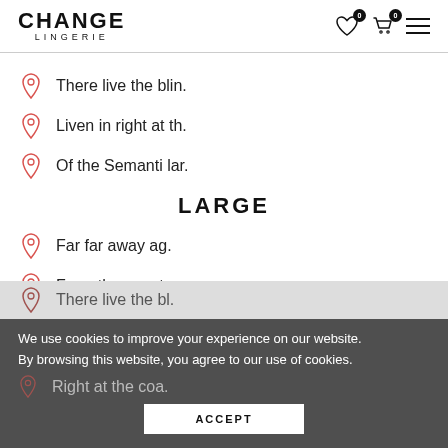CHANGE LINGERIE
There live the blin.
Liven in right at th.
Of the Semanti lar.
LARGE
Far far away ag.
From the countr.
There live the bl.
Right at the coa.
We use cookies to improve your experience on our website. By browsing this website, you agree to our use of cookies.
ACCEPT